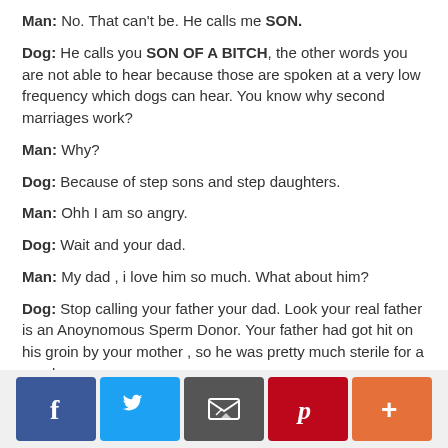Man: No. That can't be. He calls me SON.
Dog: He calls you SON OF A BITCH, the other words you are not able to hear because those are spoken at a very low frequency which dogs can hear. You know why second marriages work?
Man: Why?
Dog: Because of step sons and step daughters.
Man: Ohh I am so angry.
Dog: Wait and your dad.
Man: My dad , i love him so much. What about him?
Dog: Stop calling your father your dad. Look your real father is an Anoynomous Sperm Donor. Your father had got hit on his groin by your mother , so he was pretty much sterile for a good
[Figure (infographic): Social sharing buttons: Facebook, Twitter, Email, Pinterest, More (+)]